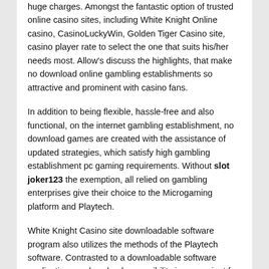huge charges. Amongst the fantastic option of trusted online casino sites, including White Knight Online casino, CasinoLuckyWin, Golden Tiger Casino site, casino player rate to select the one that suits his/her needs most. Allow's discuss the highlights, that make no download online gambling establishments so attractive and prominent with casino fans.
In addition to being flexible, hassle-free and also functional, on the internet gambling establishment, no download games are created with the assistance of updated strategies, which satisfy high gambling establishment pc gaming requirements. Without slot joker123 the exemption, all relied on gambling enterprises give their choice to the Microgaming platform and Playtech.
White Knight Casino site downloadable software program also utilizes the methods of the Playtech software. Contrasted to a downloadable software application, no download accessibility is convenient for gamers who use devices with a secure Web link. Furthermore, no